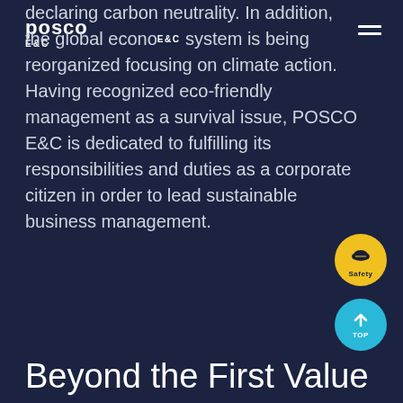POSCO E&C
declaring carbon neutrality. In addition, the global economic system is being reorganized focusing on climate action. Having recognized eco-friendly management as a survival issue, POSCO E&C is dedicated to fulfilling its responsibilities and duties as a corporate citizen in order to lead sustainable business management.
[Figure (illustration): Yellow circular Safety button with hard hat icon and 'Safety' label]
[Figure (illustration): Cyan circular TOP button with upward arrow icon and 'TOP' label]
Beyond the First Value